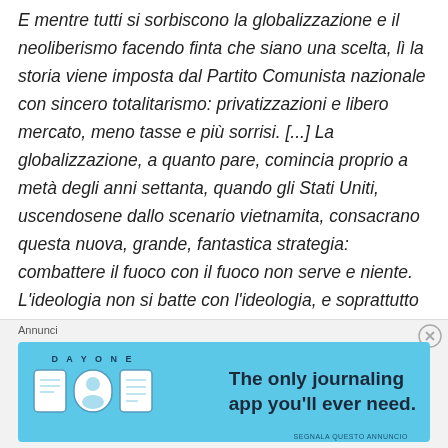E mentre tutti si sorbiscono la globalizzazione e il neoliberismo facendo finta che siano una scelta, lì la storia viene imposta dal Partito Comunista nazionale con sincero totalitarismo: privatizzazioni e libero mercato, meno tasse e più sorrisi. [...] La globalizzazione, a quanto pare, comincia proprio a metà degli anni settanta, quando gli Stati Uniti, uscendosene dallo scenario vietnamita, consacrano questa nuova, grande, fantastica strategia: combattere il fuoco con il fuoco non serve e niente. L'ideologia non si batte con l'ideologia, e soprattutto la resistenza non si batte resistendo. Al potere basta l'economia. E una manciata di immagini."
Annunci
[Figure (illustration): Day One journaling app advertisement banner with light blue background, app icons on left, and text 'The only journaling app you'll ever need.' on the right.]